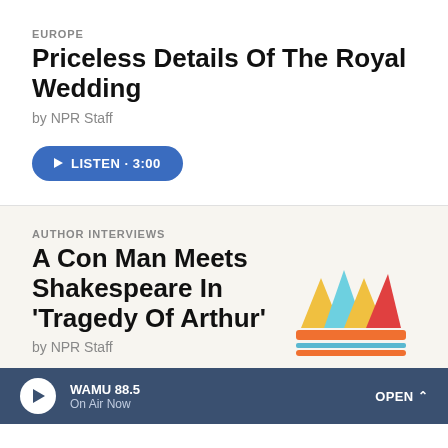EUROPE
Priceless Details Of The Royal Wedding
by NPR Staff
LISTEN · 3:00
AUTHOR INTERVIEWS
A Con Man Meets Shakespeare In 'Tragedy Of Arthur'
by NPR Staff
[Figure (illustration): Colorful illustrated crown with yellow, light blue, and red triangular spikes and orange/blue horizontal stripes at the base]
LISTEN · 7:20
WAMU 88.5 On Air Now  OPEN ^